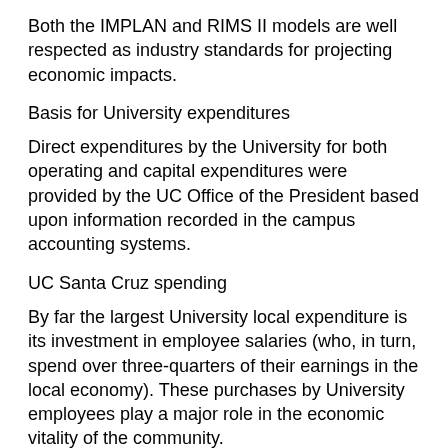Both the IMPLAN and RIMS II models are well respected as industry standards for projecting economic impacts.
Basis for University expenditures
Direct expenditures by the University for both operating and capital expenditures were provided by the UC Office of the President based upon information recorded in the campus accounting systems.
UC Santa Cruz spending
By far the largest University local expenditure is its investment in employee salaries (who, in turn, spend over three-quarters of their earnings in the local economy). These purchases by University employees play a major role in the economic vitality of the community.
UCSC also spends a large portion of its operating budget in the local economy through purchases of supplies, equipment, and services (including on-campus student housing and food services) and awards construction